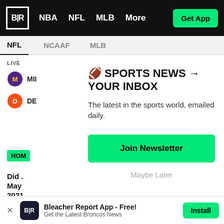B|R  NBA  NFL  MLB  More  Get App
NFL  NCAAF  MLB
LIVE  MII  DE
🏈 SPORTS NEWS → YOUR INBOX
The latest in the sports world, emailed daily.
HOM
Did . May 2021
Join Newsletter
Maybe Later
Bleacher Report App - Free! Get the Latest Broncos News  Install